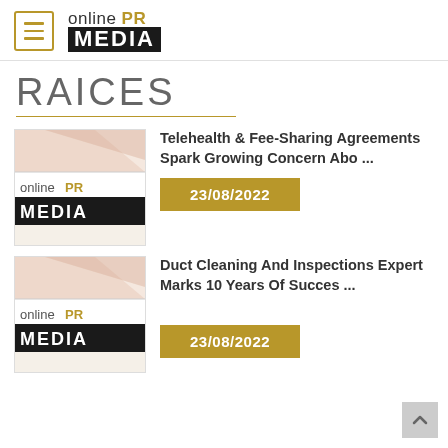[Figure (logo): Online PR Media logo with hamburger menu icon]
RAICES
[Figure (illustration): Thumbnail image for article 1 showing Online PR Media logo]
Telehealth & Fee-Sharing Agreements Spark Growing Concern Abo ...
23/08/2022
[Figure (illustration): Thumbnail image for article 2 showing Online PR Media logo]
Duct Cleaning And Inspections Expert Marks 10 Years Of Succes ...
23/08/2022